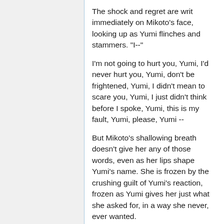The shock and regret are writ immediately on Mikoto's face, looking up as Yumi flinches and stammers. "I--"
I'm not going to hurt you, Yumi, I'd never hurt you, Yumi, don't be frightened, Yumi, I didn't mean to scare you, Yumi, I just didn't think before I spoke, Yumi, this is my fault, Yumi, please, Yumi --
But Mikoto's shallowing breath doesn't give her any of those words, even as her lips shape Yumi's name. She is frozen by the crushing guilt of Yumi's reaction, frozen as Yumi gives her just what she asked for, in a way she never, ever wanted.
Her gaze is fixed on Yumi; she cannot look away. Mikoto swallows, against the lump in her throat.